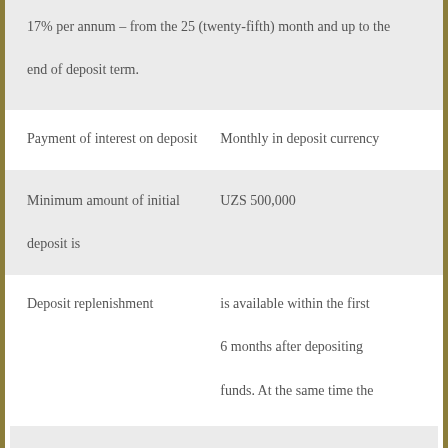| 17% per annum – from the 25 (twenty-fifth) month and up to the end of deposit term. |  |
| Payment of interest on deposit | Monthly in deposit currency |
| Minimum amount of initial deposit is | UZS 500,000 |
| Deposit replenishment | is available within the first 6 months after depositing funds. At the same time the minimum amount of replenishment is 500 000 UZS. |